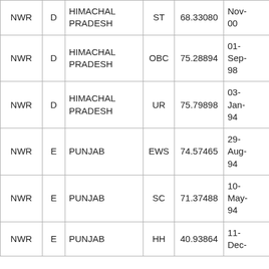|  |  |  |  |  |  |
| --- | --- | --- | --- | --- | --- |
| NWR | D | HIMACHAL PRADESH | ST | 68.33080 | Nov-00 |
| NWR | D | HIMACHAL PRADESH | OBC | 75.28894 | 01-Sep-98 |
| NWR | D | HIMACHAL PRADESH | UR | 75.79898 | 03-Jan-94 |
| NWR | E | PUNJAB | EWS | 74.57465 | 29-Aug-94 |
| NWR | E | PUNJAB | SC | 71.37488 | 10-May-94 |
| NWR | E | PUNJAB | HH | 40.93864 | 11-Dec- |